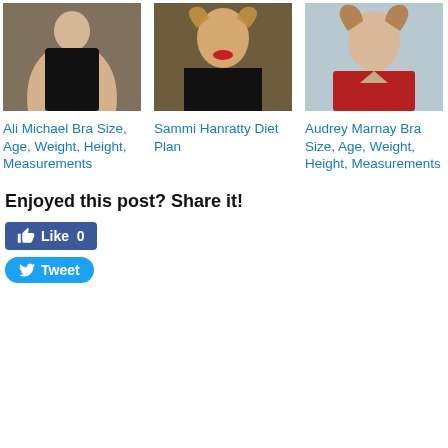[Figure (photo): Photo of Ali Michael on runway wearing black outfit with beige cardigan]
Ali Michael Bra Size, Age, Weight, Height, Measurements
[Figure (photo): Photo of Sammi Hanratty with curly blonde hair and red lips]
Sammi Hanratty Diet Plan
[Figure (photo): Photo of Audrey Marnay in red top with wavy hair]
Audrey Marnay Bra Size, Age, Weight, Height, Measurements
Enjoyed this post? Share it!